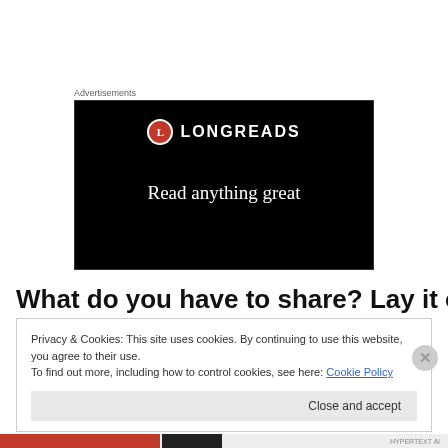Advertisements
[Figure (logo): Longreads advertisement banner on black background showing red circular logo with L, brand name LONGREADS, and tagline 'Read anything great lately?']
What do you have to share? Lay it on
Privacy & Cookies: This site uses cookies. By continuing to use this website, you agree to their use.
To find out more, including how to control cookies, see here: Cookie Policy
Close and accept